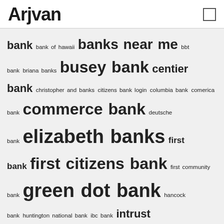Arjvan
bank bank of hawaii banks near me bbt bank briana banks busey bank centier bank christopher and banks citizens bank login columbia bank comerica bank commerce bank deutsche bank elizabeth banks first bank first citizens bank first community bank green dot bank hancock bank huntington national bank ibc bank intrust bank jonathan banks key bank login liberty bank merrick bank mt bank nevada state bank outer banks rentals people's united bank peoples bank pnc bank santa barbara bank sasha banks state farm bank suntrust online banking synchrony bank login synovus bank td bank online united bank us bank locations webster bank